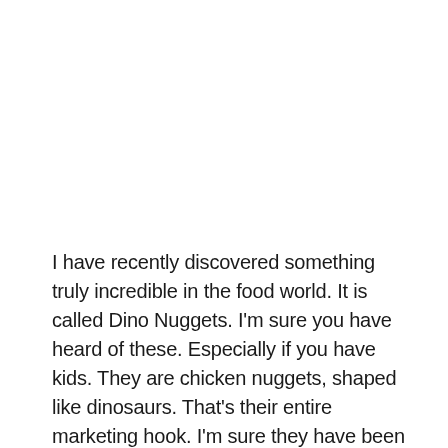I have recently discovered something truly incredible in the food world. It is called Dino Nuggets. I'm sure you have heard of these. Especially if you have kids. They are chicken nuggets, shaped like dinosaurs. That's their entire marketing hook. I'm sure they have been around for years, but I don't have kids, so I have to rely on coworkers and friends to point me to new trends in tasty, delicious fried chicken parts.